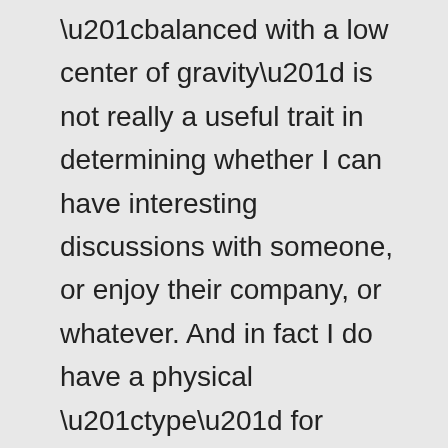“balanced with a low center of gravity” is not really a useful trait in determining whether I can have interesting discussions with someone, or enjoy their company, or whatever. And in fact I do have a physical “type” for people I associate with personality traits that do have those qualities, oddly enough, and occasionally use that “type” as a shorthand for checking to see if new people are interesting and worth making friends with. It’s just not the thing that occasionally makes me stop and go “Oh wow that is super pretty.” (It is also way